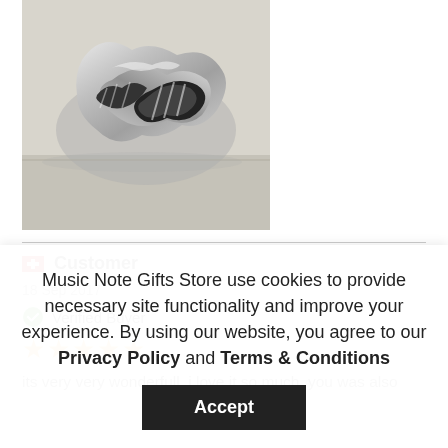[Figure (photo): Close-up photo of silver metallic decorative object with black and white patterned ribbon/fabric on a light surface]
Customer
18 Sep 2017
Verified Buyer
★★★★★
its very very wonderfull. i love it so much. you was also
Music Note Gifts Store use cookies to provide necessary site functionality and improve your experience. By using our website, you agree to our Privacy Policy and Terms & Conditions
Accept